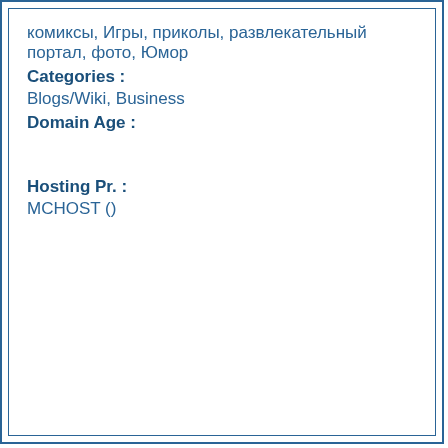комиксы, Игры, приколы, развлекательный портал, фото, Юмор
Categories :
Blogs/Wiki, Business
Domain Age :
Hosting Pr. :
MCHOST ()